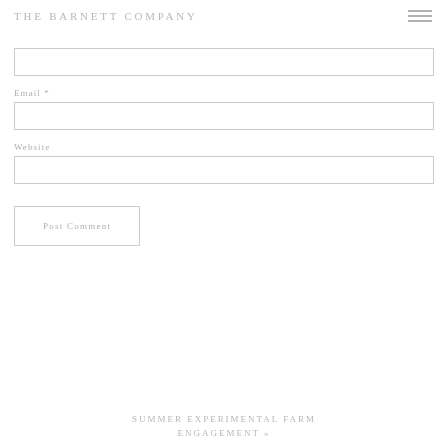THE BARNETT COMPANY
(empty input field — first field, no label visible)
Email *
(empty email input field)
Website
(empty website input field)
Post Comment
SUMMER EXPERIMENTAL FARM ENGAGEMENT »